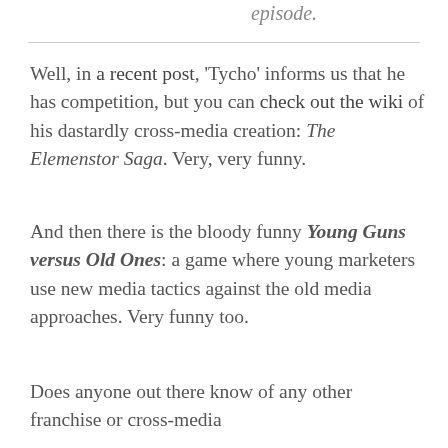episode.
Well, in a recent post, 'Tycho' informs us that he has competition, but you can check out the wiki of his dastardly cross-media creation: The Elemenstor Saga. Very, very funny.
And then there is the bloody funny Young Guns versus Old Ones: a game where young marketers use new media tactics against the old media approaches. Very funny too.
Does anyone out there know of any other franchise or cross-media